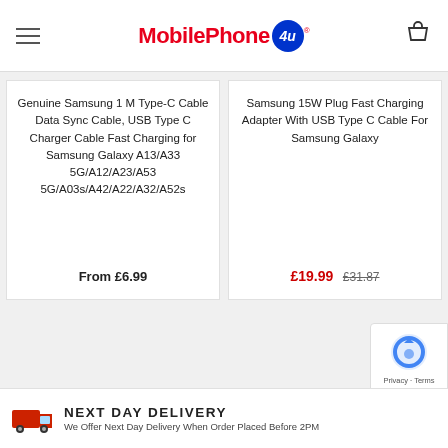MobilePhone 4u
Genuine Samsung 1 M Type-C Cable Data Sync Cable, USB Type C Charger Cable Fast Charging for Samsung Galaxy A13/A33 5G/A12/A23/A53 5G/A03s/A42/A22/A32/A52s
From £6.99
Samsung 15W Plug Fast Charging Adapter With USB Type C Cable For Samsung Galaxy
£19.99  £31.87
NEXT DAY DELIVERY
We Offer Next Day Delivery When Order Placed Before 2PM